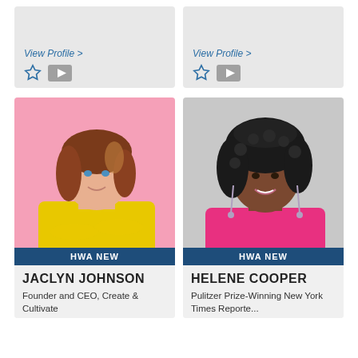View Profile >
View Profile >
[Figure (photo): Jaclyn Johnson photo - woman with shoulder-length brown/blonde highlighted hair wearing yellow blazer against pink background, arms crossed, smiling]
HWA NEW
JACLYN JOHNSON
Founder and CEO, Create &
[Figure (photo): Helene Cooper photo - woman with curly dark hair wearing pink sleeveless top with dangling earrings, smiling, against light gray background]
HWA NEW
HELENE COOPER
Pulitzer Prize-Winning New York Times Reporte...